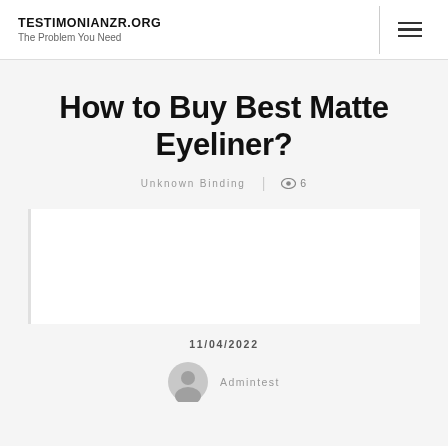TESTIMONIANZR.ORG
The Problem You Need
How to Buy Best Matte Eyeliner?
Unknown Binding | 👁 6
11/04/2022
Admintest